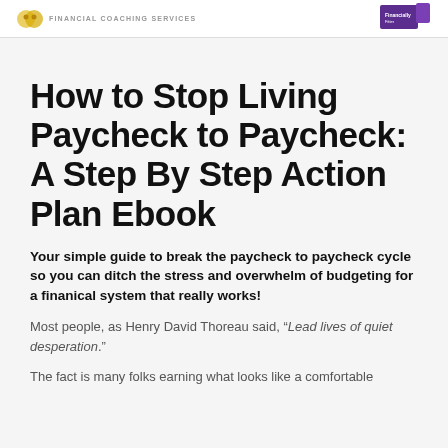FINANCIAL COACHING SERVICES
How to Stop Living Paycheck to Paycheck: A Step By Step Action Plan Ebook
Your simple guide to break the paycheck to paycheck cycle so you can ditch the stress and overwhelm of budgeting for a finanical system that really works!
Most people, as Henry David Thoreau said, “Lead lives of quiet desperation.”
The fact is many folks earning what looks like a comfortable